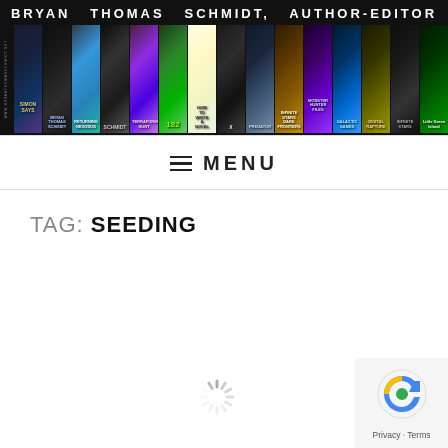[Figure (illustration): Bryan Thomas Schmidt Author-Editor website banner with book covers displayed in a row. Header text reads BRYAN THOMAS SCHMIDT, AUTHOR-EDITOR with multiple book cover thumbnails below.]
MENU
TAG: SEEDING
[Figure (illustration): Loading spinner animation icon]
[Figure (illustration): reCAPTCHA privacy widget with logo and Privacy - Terms text]